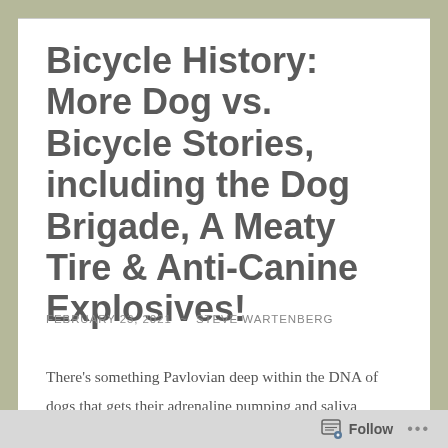Bicycle History: More Dog vs. Bicycle Stories, including the Dog Brigade, A Meaty Tire & Anti-Canine Explosives!
FEBRUARY 23, 2021  ~  STEVE WARTENBERG
There's something Pavlovian deep within the DNA of dogs that gets their adrenaline pumping and saliva flowing whenever they hear the spinning wheels of a bicycle approach. Unfortunately for us cyclists, dogs have really good ears. Especially the bigger, faster,
Follow ...